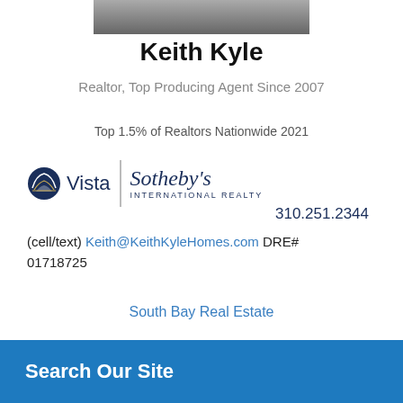[Figure (photo): Cropped bottom portion of a person's photo at top of page]
Keith Kyle
Realtor, Top Producing Agent Since 2007
Top 1.5% of Realtors Nationwide 2021
[Figure (logo): Vista Sotheby's International Realty logo with circular emblem]
310.251.2344
(cell/text) Keith@KeithKyleHomes.com DRE# 01718725
South Bay Real Estate
Search Our Site